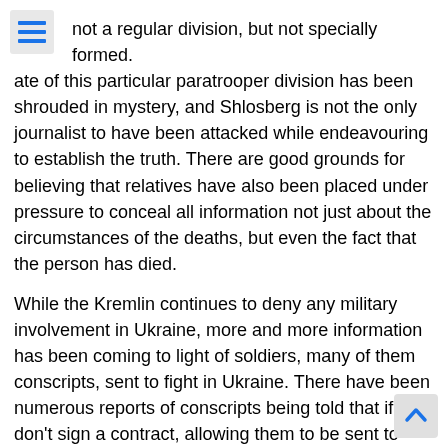[Figure (other): Hamburger menu icon with three blue horizontal lines on a gray background]
not a regular division, but not specially formed.
ate of this particular paratrooper division has been shrouded in mystery, and Shlosberg is not the only journalist to have been attacked while endeavouring to establish the truth.  There are good grounds for believing that relatives have also been placed under pressure to conceal all information not just about the circumstances of the deaths, but even the fact that the person has died.
While the Kremlin continues to deny any military involvement in Ukraine, more and more information has been coming to light of soldiers, many of them conscripts, sent to fight in Ukraine.  There have been numerous reports of conscripts being told that if they don't sign a contract, allowing them to be sent to Ukraine, the commander will sign it for them.
The organizer of a facebook page entitled Cargo 200: From Ukraine to Russia, Yelena Vasilyeva told Radio Svoboda that that 700 Russian soldiers were “definitely” killed on the day of Russia's invasion, with around 1.5 thousand sinc then.
[Figure (other): Scroll to top button with upward pointing chevron arrow on gray background]